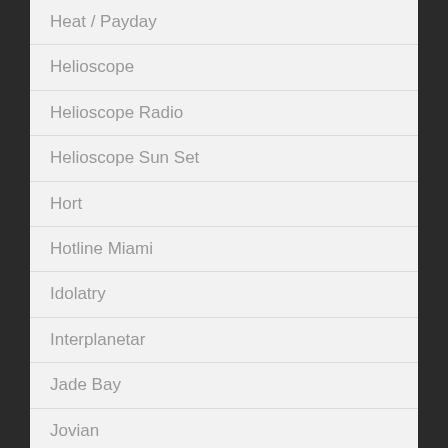Heat / Payday
Helioscope
Helioscope Radio
Helioscope Sun Set
Hort
Hotline Miami
Idolatry
Interplanetar
Jade Bay
Jovian